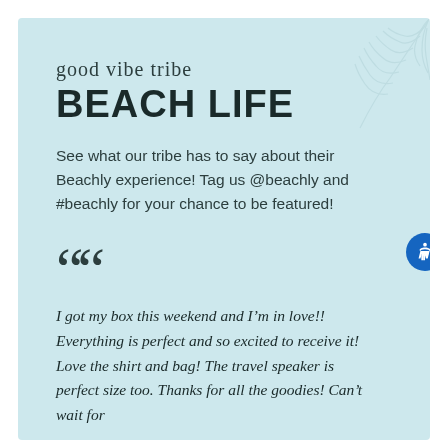good vibe tribe
BEACH LIFE
See what our tribe has to say about their Beachly experience! Tag us @beachly and #beachly for your chance to be featured!
““
I got my box this weekend and I’m in love!! Everything is perfect and so excited to receive it! Love the shirt and bag! The travel speaker is perfect size too. Thanks for all the goodies! Can’t wait for